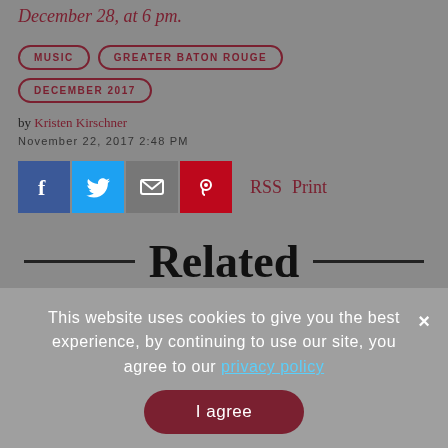December 28, at 6 pm.
MUSIC
GREATER BATON ROUGE
DECEMBER 2017
by Kristen Kirschner
November 22, 2017 2:48 PM
[Figure (infographic): Social share icons: Facebook (blue), Twitter (light blue), Email (grey), Pinterest (red), followed by RSS and Print text links]
Related
This website uses cookies to give you the best experience, by continuing to use our site, you agree to our privacy policy